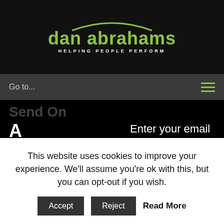[Figure (logo): Dan Abrahams logo with green arc above text 'dan abrahams' in green bold font and tagline 'HELPING PEOPLE PERFORM' in white spaced caps]
Go to...
Send On
A Message
Enter your email address to receive Dan's free soccer psychology e-book
Your Name
Your Email
This website uses cookies to improve your experience. We'll assume you're ok with this, but you can opt-out if you wish.
Accept
Reject
Read More